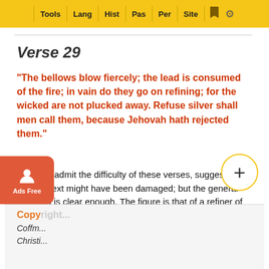Tools | Lang | Hist | Pas | Per | Site
Verse 29
"The bellows blow fiercely; the lead is consumed of the fire; in vain do they go on refining; for the wicked are not plucked away. Refuse silver shall men call them, because Jehovah hath rejected them."
Scholars admit the difficulty of these verses, suggesting that the text might have been damaged; but the general meaning is clear enough. The figure is that of a refiner of silver; and the admonition here is that, "The silver (a metaphor for Judah) is so full of alloy as to be utterly worthless."[22]
Copy
Coffm...
Christi...